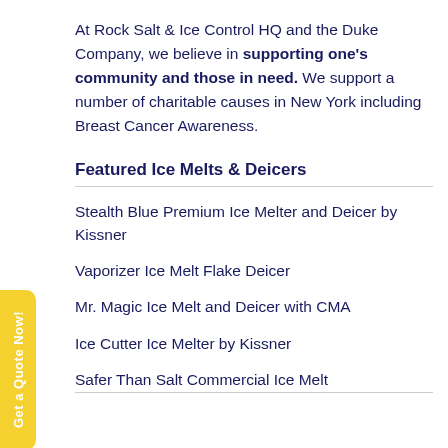At Rock Salt & Ice Control HQ and the Duke Company, we believe in supporting one's community and those in need. We support a number of charitable causes in New York including Breast Cancer Awareness.
Featured Ice Melts & Deicers
Stealth Blue Premium Ice Melter and Deicer by Kissner
Vaporizer Ice Melt Flake Deicer
Mr. Magic Ice Melt and Deicer with CMA
Ice Cutter Ice Melter by Kissner
Safer Than Salt Commercial Ice Melt